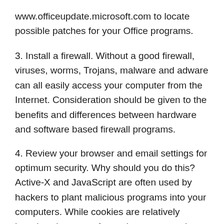www.officeupdate.microsoft.com to locate possible patches for your Office programs.
3. Install a firewall. Without a good firewall, viruses, worms, Trojans, malware and adware can all easily access your computer from the Internet. Consideration should be given to the benefits and differences between hardware and software based firewall programs.
4. Review your browser and email settings for optimum security. Why should you do this? Active-X and JavaScript are often used by hackers to plant malicious programs into your computers. While cookies are relatively harmless in terms of security concerns, they do still track